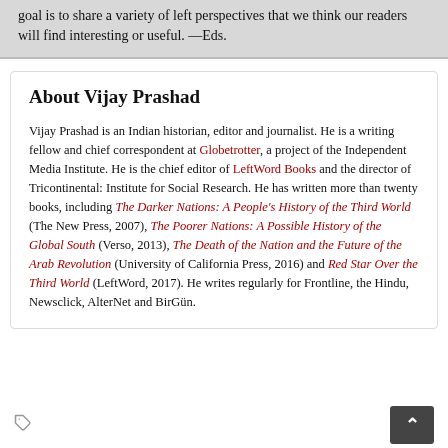goal is to share a variety of left perspectives that we think our readers will find interesting or useful. —Eds.
About Vijay Prashad
Vijay Prashad is an Indian historian, editor and journalist. He is a writing fellow and chief correspondent at Globetrotter, a project of the Independent Media Institute. He is the chief editor of LeftWord Books and the director of Tricontinental: Institute for Social Research. He has written more than twenty books, including The Darker Nations: A People's History of the Third World (The New Press, 2007), The Poorer Nations: A Possible History of the Global South (Verso, 2013), The Death of the Nation and the Future of the Arab Revolution (University of California Press, 2016) and Red Star Over the Third World (LeftWord, 2017). He writes regularly for Frontline, the Hindu, Newsclick, AlterNet and BirGün.